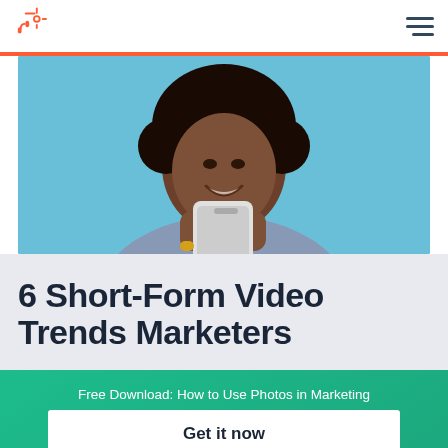HubSpot logo and navigation menu
[Figure (photo): A smiling Black woman with curly hair wearing a grey turtleneck sweater, holding a smartphone against a light blue background]
6 Short-Form Video Trends Marketers
Free Download: How to Use Photos in Marketing
Get it now